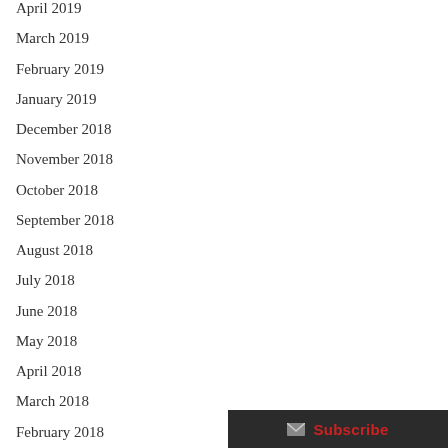April 2019
March 2019
February 2019
January 2019
December 2018
November 2018
October 2018
September 2018
August 2018
July 2018
June 2018
May 2018
April 2018
March 2018
February 2018
January 2018
December 2017